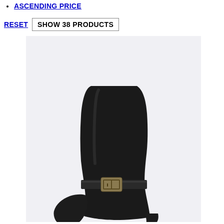ASCENDING PRICE
RESET  SHOW 38 PRODUCTS
[Figure (photo): Black leather ankle boot with gold buckle detail on a light grey/white background, shown from above cropped at the ankle area.]